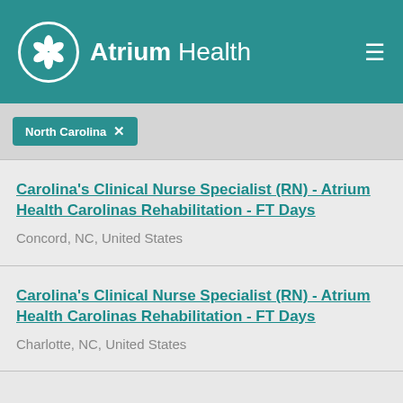Atrium Health
North Carolina ×
Carolina's Clinical Nurse Specialist (RN) - Atrium Health Carolinas Rehabilitation - FT Days
Concord, NC, United States
Carolina's Clinical Nurse Specialist (RN) - Atrium Health Carolinas Rehabilitation - FT Days
Charlotte, NC, United States